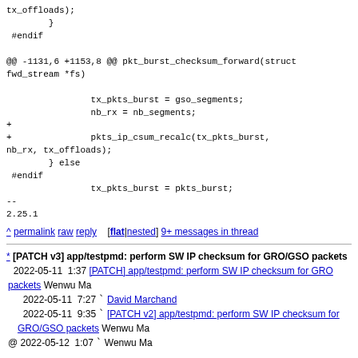tx_offloads);
        }
 #endif

@@ -1131,6 +1153,8 @@ pkt_burst_checksum_forward(struct fwd_stream *fs)

                        tx_pkts_burst = gso_segments;
                        nb_rx = nb_segments;
+
+                        pkts_ip_csum_recalc(tx_pkts_burst, nb_rx, tx_offloads);
         } else
  #endif
                        tx_pkts_burst = pkts_burst;
--
2.25.1
^ permalink raw reply [flat|nested] 9+ messages in thread
* [PATCH v3] app/testpmd: perform SW IP checksum for GRO/GSO packets
  2022-05-11  1:37 [PATCH] app/testpmd: perform SW IP checksum for GRO packets Wenwu Ma
    2022-05-11  7:27 ` David Marchand
    2022-05-11  9:35 ` [PATCH v2] app/testpmd: perform SW IP checksum for GRO/GSO packets Wenwu Ma
@ 2022-05-12  1:07 ` Wenwu Ma